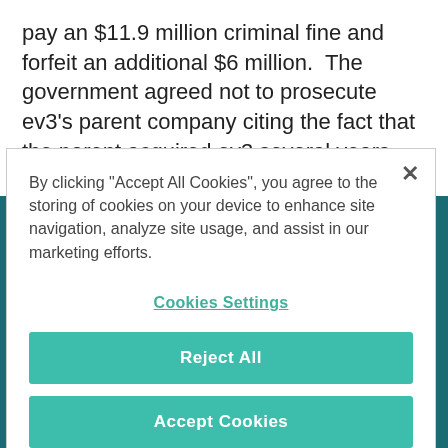pay an $11.9 million criminal fine and forfeit an additional $6 million.  The government agreed not to prosecute ev3's parent company citing the fact that the parent acquired ev3 several years after
By clicking "Accept All Cookies", you agree to the storing of cookies on your device to enhance site navigation, analyze site usage, and assist in our marketing efforts.
Cookies Settings
Reject All
Accept Cookies